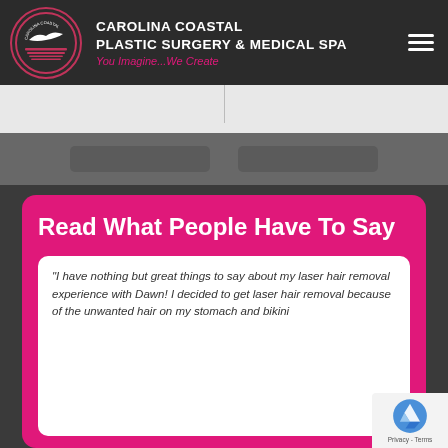CAROLINA COASTAL PLASTIC SURGERY & MEDICAL SPA — You Imagine...We Create
[Figure (screenshot): Light gray section with a faint vertical dividing line and two blurred navigation/content blocks below]
Read What People Have To Say
"I have nothing but great things to say about my laser hair removal experience with Dawn! I decided to get laser hair removal because of the unwanted hair on my stomach and bikini